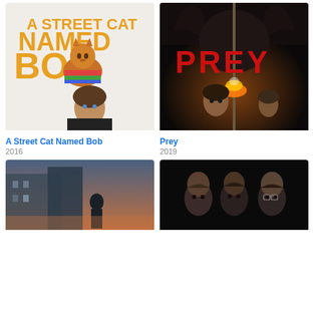[Figure (photo): Movie poster for 'A Street Cat Named Bob' featuring a man with an orange tabby cat on his shoulder wearing a colorful scarf, on a white background with bold orange text]
[Figure (photo): Movie poster for 'Prey' featuring a woman holding a flaming spear with a large demonic horned creature looming in the dark background, red bold title text]
A Street Cat Named Bob
2016
Prey
2019
[Figure (photo): Movie poster showing a person standing on a city street with blurred urban background, muted cool tones]
[Figure (photo): Movie poster showing multiple dark figures / people looking forward against a black background]